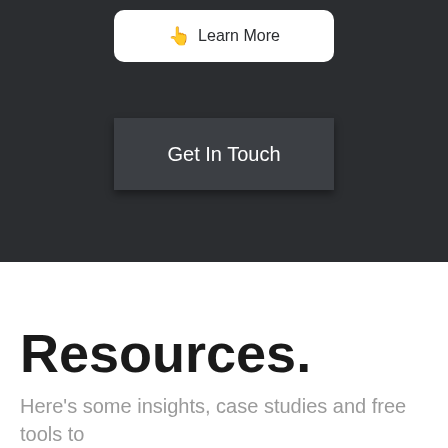[Figure (screenshot): A white button with cursor icon and 'Learn More' text on dark background, partially visible at top]
Get In Touch
Resources.
Here's some insights, case studies and free tools to help you...